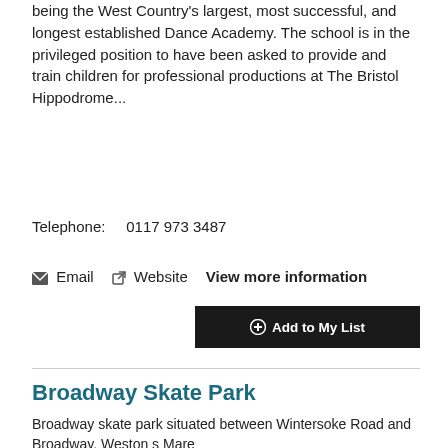being the West Country's largest, most successful, and longest established Dance Academy. The school is in the privileged position to have been asked to provide and train children for professional productions at The Bristol Hippodrome...
Telephone:   0117 973 3487
✉ Email   ✇ Website   View more information
➕Add to My List
Broadway Skate Park
Broadway skate park situated between Wintersoke Road and Broadway, Weston s Mare
View more information
➕Add to My List
The Budokan Backwell Judo
Back to top